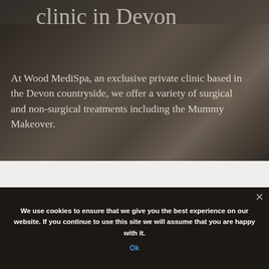[Figure (photo): Background photo of a person seated on a wooden floor, partially visible legs and bare feet, with a dark overlay. Used as hero background for Wood MediSpa clinic website.]
clinic in Devon
At Wood MediSpa, an exclusive private clinic based in the Devon countryside, we offer a variety of surgical and non-surgical treatments including the Mummy Makeover.
We use cookies to ensure that we give you the best experience on our website. If you continue to use this site we will assume that you are happy with it.
Ok